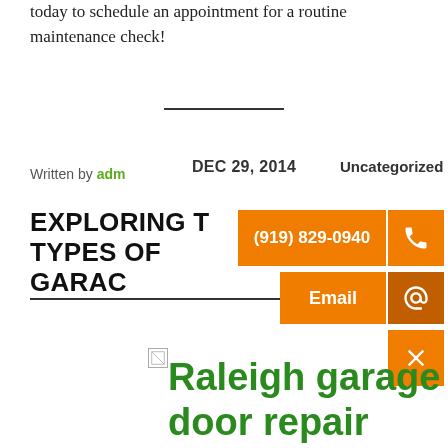today to schedule an appointment for a routine maintenance check!
Written by admin
DEC 29, 2014
Uncategorized
EXPLORING THE DIFFERENT TYPES OF GARAGE SIZES
[Figure (infographic): Orange contact bar overlay with phone number (919) 829-0940, phone icon, Email button with @ icon, and close X button]
[Figure (photo): Small broken image placeholder]
Raleigh garage door repair